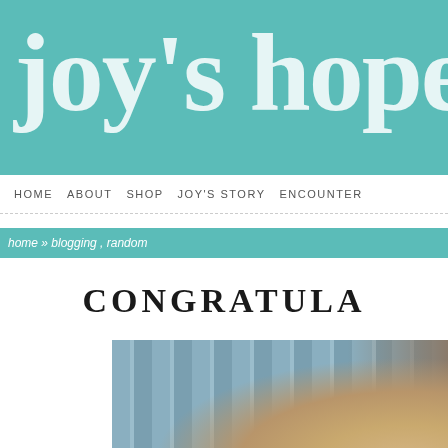joy's hope
HOME   ABOUT   SHOP   JOY'S STORY   ENCOUNTER
home » blogging , random
CONGRATULA
[Figure (photo): Photo of a person with blonde hair in front of a blue wooden fence, partially cropped]